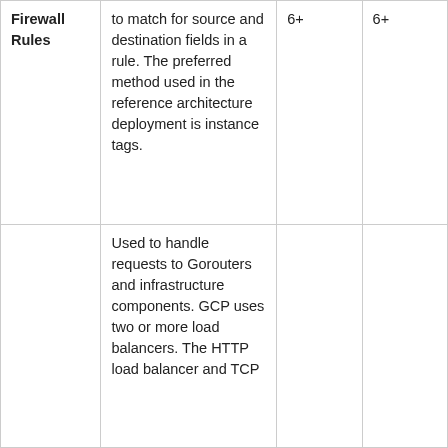| Firewall Rules | to match for source and destination fields in a rule. The preferred method used in the reference architecture deployment is instance tags. | 6+ | 6+ |
|  | Used to handle requests to Gorouters and infrastructure components. GCP uses two or more load balancers. The HTTP load balancer and TCP |  |  |